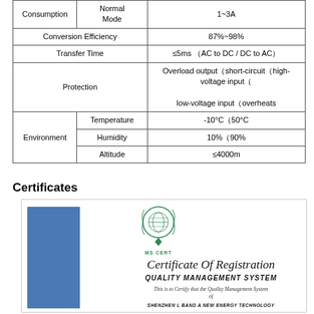|  |  |  |
| --- | --- | --- |
| Consumption | Normal Mode | 1~3A |
| Conversion Efficiency |  | 87%~98% |
| Transfer Time |  | ≤5ms（AC to DC / DC to AC） |
| Protection |  | Overload output（short-circuit（high-voltage input（
low-voltage input（overheats |
| Environment | Temperature | -10°C（50°C |
| Environment | Humidity | 10%（90% |
| Environment | Altitude | ≤4000m |
Certificates
[Figure (photo): Certificate of Registration - MS CERT Quality Management System certificate with blue vertical bar on left, MS CERT globe logo, italic script title 'Certificate Of Registration', subtitle 'QUALITY MANAGEMENT SYSTEM', text 'This is to Certify that the Quality Management System of', and company name 'SHENZHEN L BAND A NEW ENERGY TECHNOLOGY']